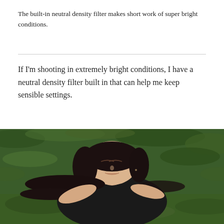The built-in neutral density filter makes short work of super bright conditions.
If I'm shooting in extremely bright conditions, I have a neutral density filter built in that can help me keep sensible settings.
[Figure (photo): A young woman with dark hair lying on grass with her eyes closed, wearing a black top, hands behind her head, photographed from above in bright outdoor conditions.]